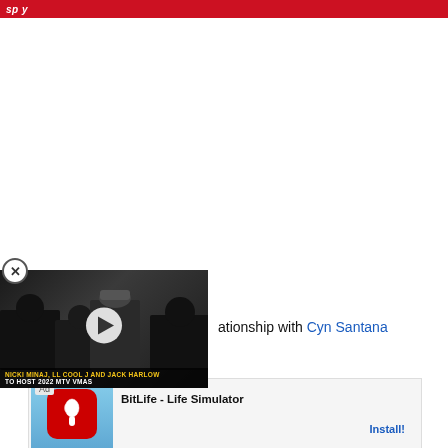sp y
[Figure (screenshot): White content area of a news/entertainment website]
[Figure (screenshot): Close button (X circle) for dismissing video overlay]
[Figure (screenshot): Video overlay showing a person at an event with play button. Caption reads: NICKI MINAJ, LL COOL J AND JACK HARLOW TO HOST 2022 MTV VMAS]
ationship with Cyn Santana
[Figure (screenshot): Ad bar: Ad label, BitLife app icon, BitLife - Life Simulator, Install! button]